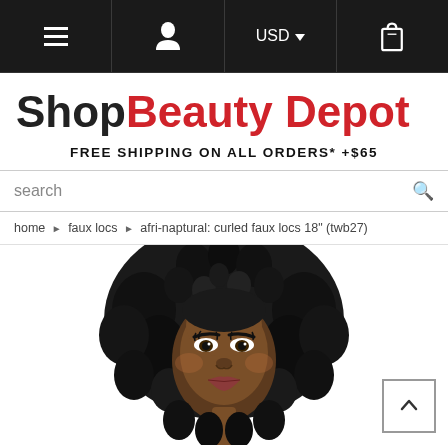Navigation bar with menu, user, USD currency, and bag icons
Shop Beauty Depot
FREE SHIPPING ON ALL ORDERS* +$65
search
home › faux locs › afri-naptural: curled faux locs 18" (twb27)
[Figure (photo): Woman wearing curled faux locs hairstyle (Afri-Naptural product twb27), face visible from forehead to chin, dark curly loc extensions styled around the face and shoulders. Product photo on white background.]